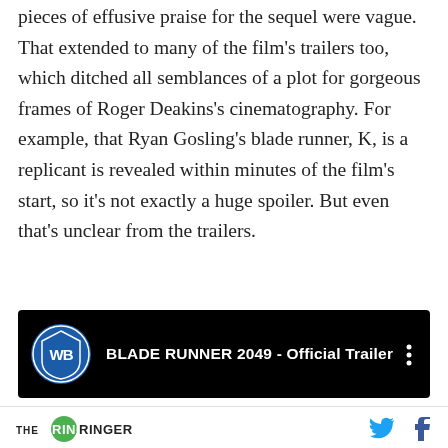pieces of effusive praise for the sequel were vague. That extended to many of the film's trailers too, which ditched all semblances of a plot for gorgeous frames of Roger Deakins's cinematography. For example, that Ryan Gosling's blade runner, K, is a replicant is revealed within minutes of the film's start, so it's not exactly a huge spoiler. But even that's unclear from the trailers.
[Figure (screenshot): YouTube video embed thumbnail showing 'BLADE RUNNER 2049 - Official Trailer' with Warner Bros. logo on black background]
THE RINGER [logo] | Twitter icon | Facebook icon